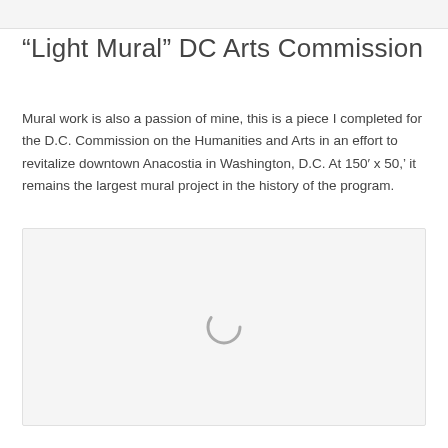“Light Mural” DC Arts Commission
Mural work is also a passion of mine, this is a piece I completed for the D.C. Commission on the Humanities and Arts in an effort to revitalize downtown Anacostia in Washington, D.C. At 150′ x 50,’ it remains the largest mural project in the history of the program.
[Figure (photo): Image loading placeholder with spinner icon, representing a mural artwork for the DC Arts Commission]